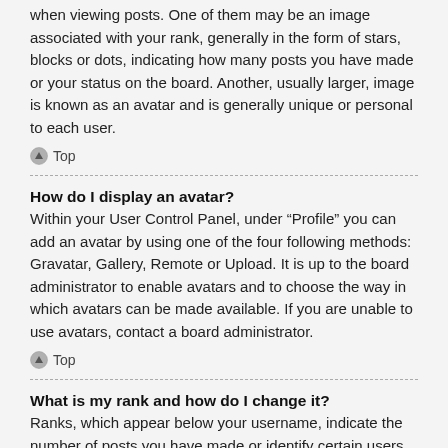when viewing posts. One of them may be an image associated with your rank, generally in the form of stars, blocks or dots, indicating how many posts you have made or your status on the board. Another, usually larger, image is known as an avatar and is generally unique or personal to each user.
Top
How do I display an avatar?
Within your User Control Panel, under “Profile” you can add an avatar by using one of the four following methods: Gravatar, Gallery, Remote or Upload. It is up to the board administrator to enable avatars and to choose the way in which avatars can be made available. If you are unable to use avatars, contact a board administrator.
Top
What is my rank and how do I change it?
Ranks, which appear below your username, indicate the number of posts you have made or identify certain users, e.g. moderators and administrators. In general, you cannot directly change the wording of any board ranks as they are set by the board administrator. Please do not abuse the board by posting unnecessarily just to increase your rank. Most boards will not tolerate this and the